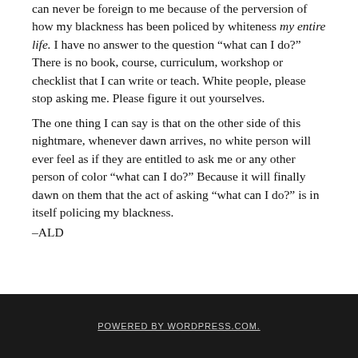can never be foreign to me because of the perversion of how my blackness has been policed by whiteness my entire life.  I have no answer to the question “what can I do?” There is no book, course, curriculum, workshop or checklist that I can write or teach.  White people, please stop asking me. Please figure it out yourselves.

The one thing I can say is that on the other side of this nightmare, whenever dawn arrives, no white person will ever feel as if they are entitled to ask me or any other person of color “what can I do?”  Because it will finally dawn on them that the act of asking “what can I do?” is in itself policing my blackness.
–ALD
POWERED BY WORDPRESS.COM.